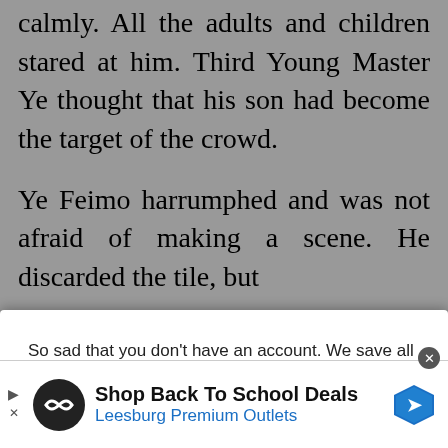calmly. All the adults and children stared at him. Third Young Master Ye thought that his son had become the target of the crowd.
Ye Feimo harrumphed and was not afraid of making a scene. He discarded the tile, but
So sad that you don't have an account. We save all your progress across device and show it on homepage. SIGN UP and try it. Or LOGIN.
They became more nervous towards the end. Ye Feimo drew a safe tile and heaved a sigh
[Figure (screenshot): Advertisement banner for Leesburg Premium Outlets with logo, text 'Shop Back To School Deals' and 'Leesburg Premium Outlets', navigation icon on right, play/close controls on left.]